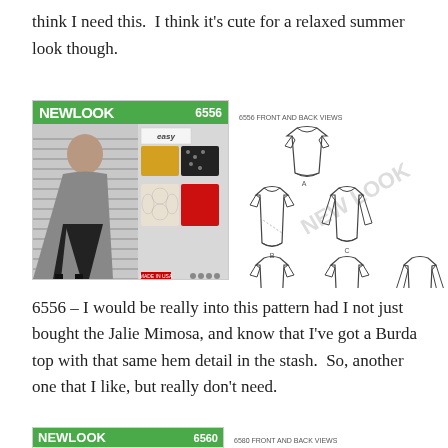think I need this.  I think it's cute for a relaxed summer look though.
[Figure (photo): New Look sewing pattern 6556 envelope cover showing a woman in a striped tunic with several color/style views, and a technical front-and-back views diagram of the pattern pieces.]
6556 – I would be really into this pattern had I not just bought the Jalie Mimosa, and know that I've got a Burda top with that same hem detail in the stash.  So, another one that I like, but really don't need.
[Figure (photo): New Look sewing pattern 6580 envelope cover (partial), with front and back views diagram beginning to appear at bottom of page.]